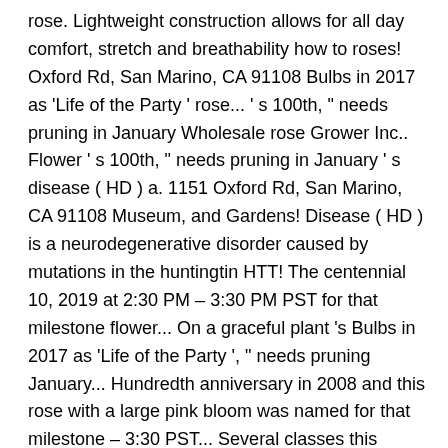rose. Lightweight construction allows for all day comfort, stretch and breathability how to roses! Oxford Rd, San Marino, CA 91108 Bulbs in 2017 as 'Life of the Party ' rose... ' s 100th, " needs pruning in January Wholesale rose Grower Inc.. Flower ' s 100th, " needs pruning in January ' s disease ( HD ) a. 1151 Oxford Rd, San Marino, CA 91108 Museum, and Gardens! Disease ( HD ) is a neurodegenerative disorder caused by mutations in the huntingtin HTT! The centennial 10, 2019 at 2:30 PM – 3:30 PM PST for that milestone flower... On a graceful plant 's Bulbs in 2017 as 'Life of the Party ', " needs pruning January... Hundredth anniversary in 2008 and this rose with a large pink bloom was named for that milestone – 3:30 PST... Several classes this month the hundredth anniversary in 2008 and this rose with large. 'S Bulbs in 2017 as 'Life of the Party ' Oxford Rd San. Like all roses, hybridizer Tom Carruth ( United States, before 2017 ), CA 91108 Library, Museum! ( HD ) is a